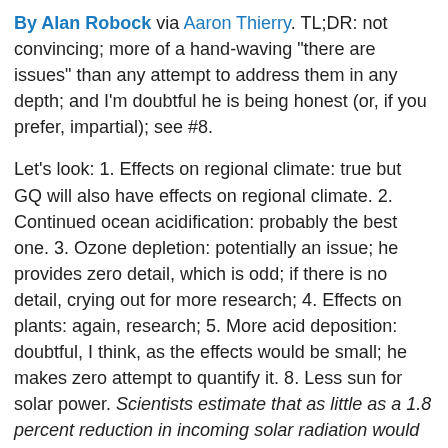By Alan Robock via Aaron Thierry. TL;DR: not convincing; more of a hand-waving "there are issues" than any attempt to address them in any depth; and I'm doubtful he is being honest (or, if you prefer, impartial); see #8.
Let's look: 1. Effects on regional climate: true but GQ will also have effects on regional climate. 2. Continued ocean acidification: probably the best one. 3. Ozone depletion: potentially an issue; he provides zero detail, which is odd; if there is no detail, crying out for more research; 4. Effects on plants: again, research; 5. More acid deposition: doubtful, I think, as the effects would be small; he makes zero attempt to quantify it. 8. Less sun for solar power. Scientists estimate that as little as a 1.8 percent reduction in incoming solar radiation would compensate for a doubling of atmospheric carbon dioxide. Errm, but we're not suggesting nearly so much compensation. So, less than 1% effect on solar power in exchange for ~50% compensation? That would be a pretty good deal, not that you'd guess it from his words. 9. Environmental impacts of implementation. Any system that could inject aerosols into the stratosphere... would cause enormous environmental damage. Silly, I think. 10. Rapid